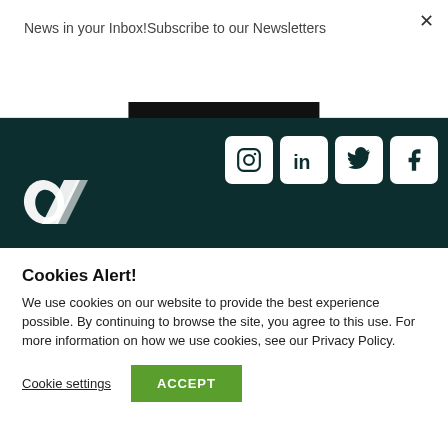News in your Inbox!Subscribe to our Newsletters
Subscribe
[Figure (logo): Dark teal footer band with stylized 'dr' or leaf logo in white on the left, and four social media icon buttons (Instagram, LinkedIn, Twitter, Facebook) on the right]
Cookies Alert!
We use cookies on our website to provide the best experience possible. By continuing to browse the site, you agree to this use. For more information on how we use cookies, see our Privacy Policy.
Cookie settings
ACCEPT